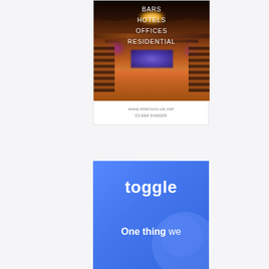[Figure (photo): Interior design advertisement photo showing a luxury bar/restaurant interior with warm wooden ceiling, dramatic lighting, bar seating on both sides, purple and blue stage lighting in background. Text overlay shows: BARS, HOTELS, OFFICES, RESIDENTIAL]
www.interiors-uk.net
01484 646065
[Figure (illustration): Blue advertisement banner for 'toggle' with large bold white 'toggle' text and partial text 'One thing we' in white below on blue background]